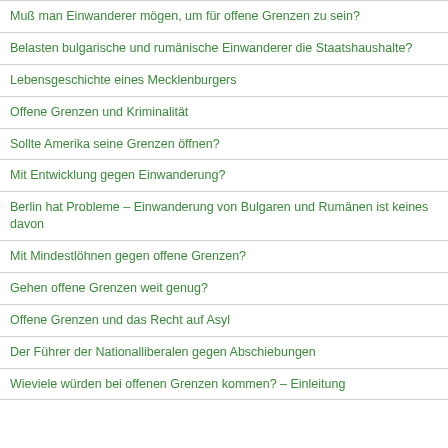Muß man Einwanderer mögen, um für offene Grenzen zu sein?
Belasten bulgarische und rumänische Einwanderer die Staatshaushalte?
Lebensgeschichte eines Mecklenburgers
Offene Grenzen und Kriminalität
Sollte Amerika seine Grenzen öffnen?
Mit Entwicklung gegen Einwanderung?
Berlin hat Probleme – Einwanderung von Bulgaren und Rumänen ist keines davon
Mit Mindestlöhnen gegen offene Grenzen?
Gehen offene Grenzen weit genug?
Offene Grenzen und das Recht auf Asyl
Der Führer der Nationalliberalen gegen Abschiebungen
Wieviele würden bei offenen Grenzen kommen? – Einleitung